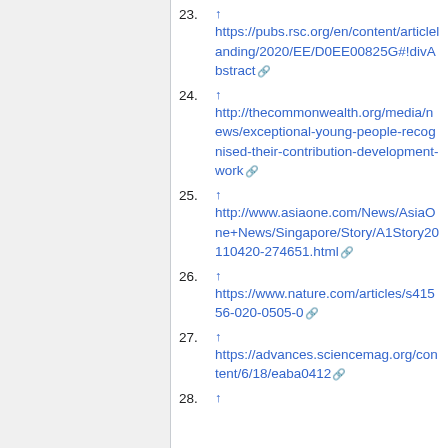23. ↑ https://pubs.rsc.org/en/content/articlelanding/2020/EE/D0EE00825G#!divAbstract
24. ↑ http://thecommonwealth.org/media/news/exceptional-young-people-recognised-their-contribution-development-work
25. ↑ http://www.asiaone.com/News/AsiaOne+News/Singapore/Story/A1Story20110420-274651.html
26. ↑ https://www.nature.com/articles/s41556-020-0505-0
27. ↑ https://advances.sciencemag.org/content/6/18/eaba0412
28. ↑